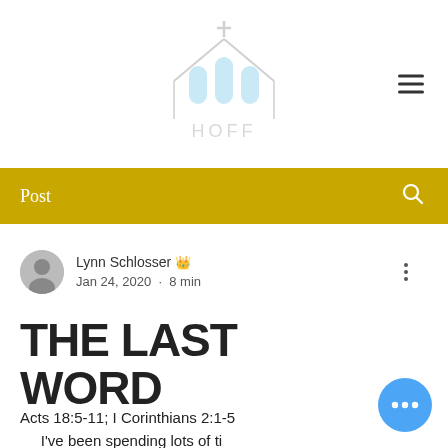[Figure (logo): HOFF church logo with stained glass windows icon and text HOFF below]
Post
Lynn Schlosser 👑
Jan 24, 2020 · 8 min
THE LAST WORD
Acts 18:5-11; I Corinthians 2:1-5
	I've been spending lots of time over these last few months thinking